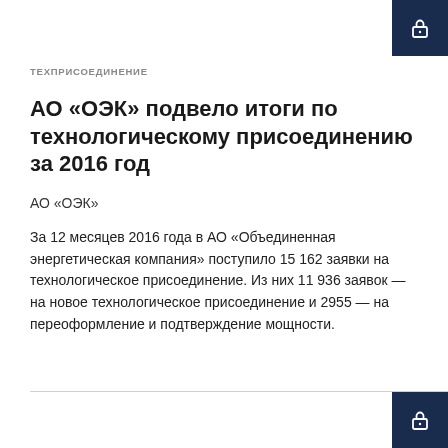ТЕХПРИСОЕДИНЕНИЕ
АО «ОЭК» подвело итоги по технологическому присоединению за 2016 год
АО «ОЭК»
За 12 месяцев 2016 года в АО «Объединенная энергетическая компания» поступило 15 162 заявки на технологическое присоединение. Из них 11 936 заявок — на новое технологическое присоединение и 2955 — на переоформление и подтверждение мощности.